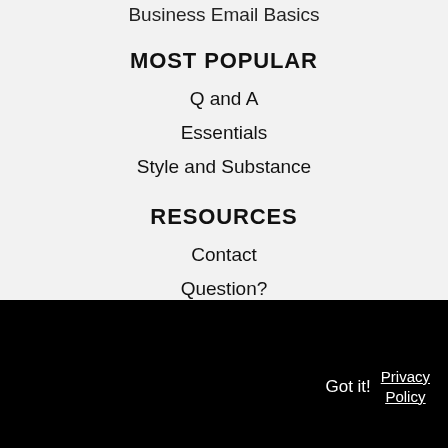Business Email Basics
MOST POPULAR
Q and A
Essentials
Style and Substance
RESOURCES
Contact
Question?
Got it!  Privacy Policy